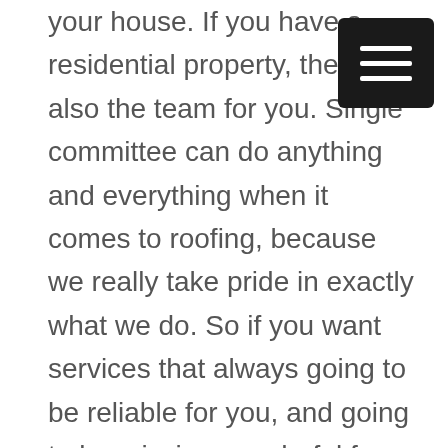your house. If you have a residential property, then we also the team for you. Single committee can do anything and everything when it comes to roofing, because we really take pride in exactly what we do. So if you want services that always going to be reliable for you, and going to be missing wonderful for the missing simply, to make sure that you get exactly what you whenever you need. To make a fantastic result able to his we know exactly how to make it happen for you. If you want to be dedicated to this is coming you are looking for team is happy to provide commercial
[Figure (other): Black square button with three horizontal white lines (hamburger/menu icon)]